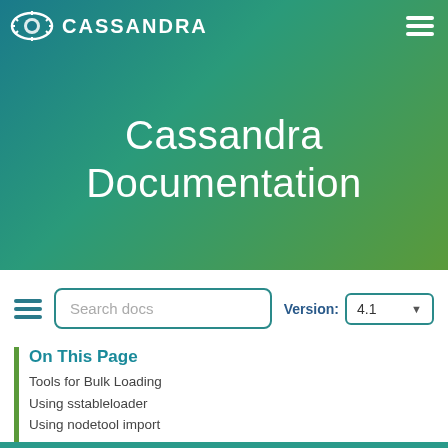CASSANDRA
Cassandra Documentation
Search docs
Version: 4.1
On This Page
Tools for Bulk Loading
Using sstableloader
Using nodetool import
Bulk Loading External Data